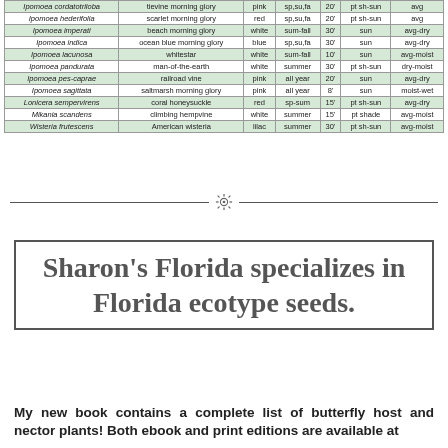| Scientific Name | Common Name | Color | Season | Ht | Light | Moisture |
| --- | --- | --- | --- | --- | --- | --- |
| Ipomoea cordatotriloba | tievine morning glory | pink | sp,su,fa | 20' | pt sh-sun | avg |
| Ipomoea hederifolia | scarlet morning glory | red | sp,su,fa | 20' | pt sh-sun | avg |
| Ipomoea imperati | beach morning glory | white | sum-fall | 30' | sun | avg-dry |
| Ipomoea indica | ocean blue morning glory | blue | sp,su,fa | 30' | sun | avg-dry |
| Ipomoea lacunosa | whitestar | white | sum-fall | 10' | sun | avg-moist |
| Ipomoea pandurata | man-of-the-earth | white | summer | 30' | pt sh-sun | dry-moist |
| Ipomoea pes-caprae | railroad vine | pink | all year | 20' | sun | avg-dry |
| Ipomoea sagittata | saltmarsh morning glory | pink | all year | 8' | sun | moist-wet |
| Lonicera sempervirens | coral honeysuckle | red | sp-sum | 15' | pt sh-sun | avg-dry |
| Mikania scandens | climbing hempvine | white | summer | 15' | pt shade | avg-moist |
| Wisteria frutescens | American wisteria | lilac | summer | 30' | pt sh-sun | avg-moist |
[Figure (illustration): Decorative divider with a gear/flower icon in the center and horizontal lines on each side]
Sharon's Florida specializes in Florida ecotype seeds.
My new book contains a complete list of butterfly host and nector plants! Both ebook and print editions are available at